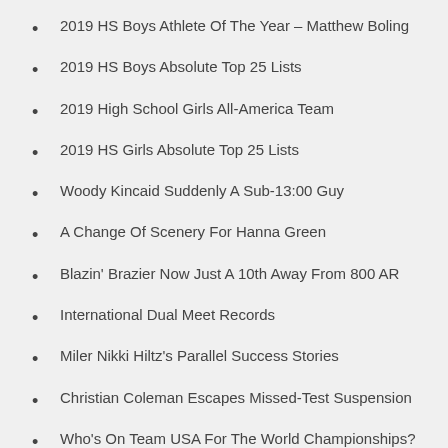2019 HS Boys Athlete Of The Year – Matthew Boling
2019 HS Boys Absolute Top 25 Lists
2019 High School Girls All-America Team
2019 HS Girls Absolute Top 25 Lists
Woody Kincaid Suddenly A Sub-13:00 Guy
A Change Of Scenery For Hanna Green
Blazin' Brazier Now Just A 10th Away From 800 AR
International Dual Meet Records
Miler Nikki Hiltz's Parallel Success Stories
Christian Coleman Escapes Missed-Test Suspension
Who's On Team USA For The World Championships?
World's Fastest Mile...